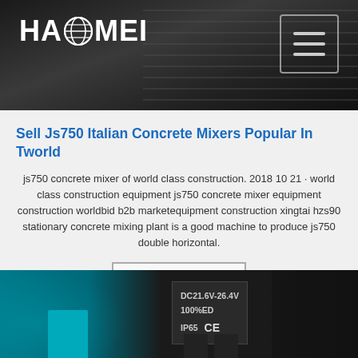[Figure (screenshot): Haomei company logo with globe icon on dark industrial background, with hamburger menu button in top right corner]
Sell Js750 Italian Concrete Mixers Popular In Tworld
js750 concrete mixer of world class construction. 2018 10 21 · world class construction equipment js750 concrete mixer equipment construction worldbid b2b marketequipment construction xingtai hzs90 stationary concrete mixing plant is a good machine to produce js750 double horizontal.
Get Price
[Figure (photo): Close-up of industrial device/motor label showing DC21.6V-26.4V, 100%ED, IP65, CE marking on dark equipment, with teal/cyan background on left side]